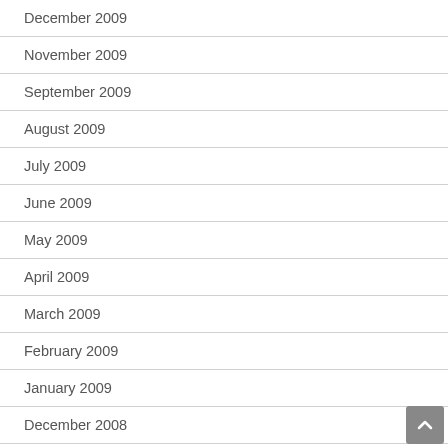December 2009
November 2009
September 2009
August 2009
July 2009
June 2009
May 2009
April 2009
March 2009
February 2009
January 2009
December 2008
November 2008